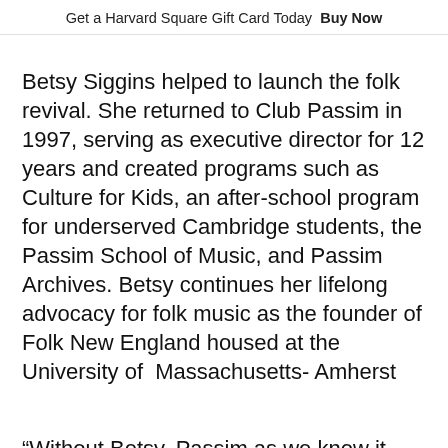Get a Harvard Square Gift Card Today  Buy Now
Betsy Siggins helped to launch the folk revival. She returned to Club Passim in 1997, serving as executive director for 12 years and created programs such as Culture for Kids, an after-school program for underserved Cambridge students, the Passim School of Music, and Passim Archives. Betsy continues her lifelong advocacy for folk music as the founder of Folk New England housed at the University of  Massachusetts- Amherst
“Without Betsy, Passim as we know it would not exist today,” continued Wooster.  “Her hard work has not only allowed Club Passim to thrive, but by seeing the possibility of the Passim School of Music, she has continued to inspire and educate New England musicians. We are thrilled to have her friend